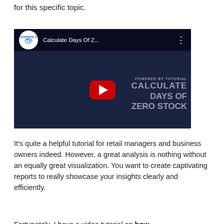for this specific topic.
[Figure (screenshot): YouTube video thumbnail for 'Calculate Days Of Z...' from Enterprise DNA TV channel, showing a presenter against a dark blue background with text 'CALCULATE DAYS OF ZERO STOCK' and a red play button.]
It’s quite a helpful tutorial for retail managers and business owners indeed. However, a great analysis is nothing without an equally great visualization. You want to create captivating reports to really showcase your insights clearly and efficiently.
Fortunately, I have a video tutorial on how